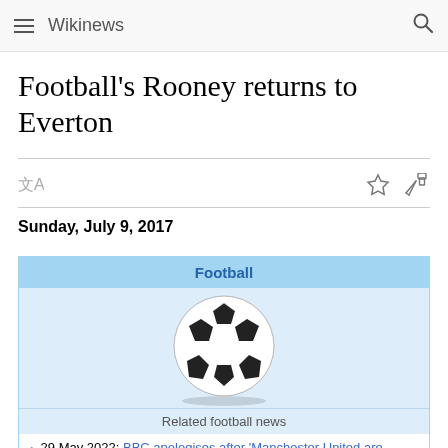Wikinews
Football's Rooney returns to Everton
Sunday, July 9, 2017
[Figure (illustration): Football category box with a soccer ball image, 'Football' header in blue, 'Related football news' label, and a news list item: '29 May 2022: BBC apologises after 'Manchester United are rubbish' appears on news ticker']
29 May 2022: BBC apologises after 'Manchester United are rubbish' appears on news ticker